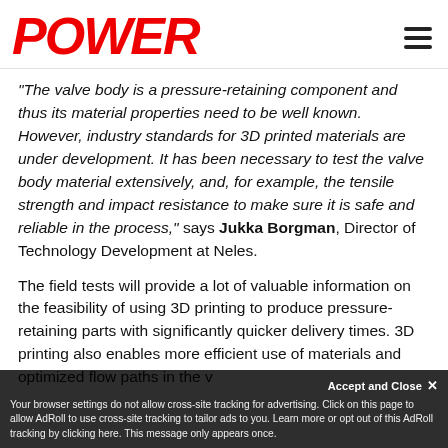POWER
“The valve body is a pressure-retaining component and thus its material properties need to be well known. However, industry standards for 3D printed materials are under development. It has been necessary to test the valve body material extensively, and, for example, the tensile strength and impact resistance to make sure it is safe and reliable in the process,” says Jukka Borgman, Director of Technology Development at Neles.
The field tests will provide a lot of valuable information on the feasibility of using 3D printing to produce pressure-retaining parts with significantly quicker delivery times. 3D printing also enables more efficient use of materials and optimized flow paths in the v...
Accept and Close × Your browser settings do not allow cross-site tracking for advertising. Click on this page to allow AdRoll to use cross-site tracking to tailor ads to you. Learn more or opt out of this AdRoll tracking by clicking here. This message only appears once.